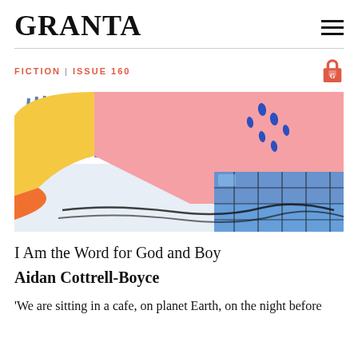GRANTA
FICTION | ISSUE 160
[Figure (illustration): Abstract colorful artwork showing bold shapes in pink, yellow, orange, and blue with a grid pattern element on the right and blue dotted/dashed marks on the pink area. Background has blue stripe patterns on white in the upper left.]
I Am the Word for God and Boy
Aidan Cottrell-Boyce
'We are sitting in a cafe, on planet Earth, on the night before